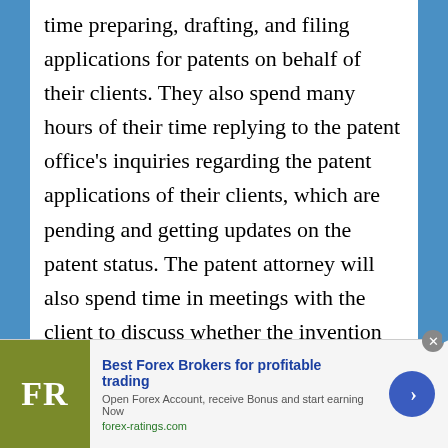time preparing, drafting, and filing applications for patents on behalf of their clients. They also spend many hours of their time replying to the patent office's inquiries regarding the patent applications of their clients, which are pending and getting updates on the patent status. The patent attorney will also spend time in meetings with the client to discuss whether the invention can be patented and whether it is worth investing time and money in patenting the design or innovation.
[Figure (other): Advertisement banner for forex-ratings.com — Best Forex Brokers for profitable trading. Open Forex Account, receive Bonus and start earning Now. forex-ratings.com. FR logo on olive/green background, blue circular arrow button.]